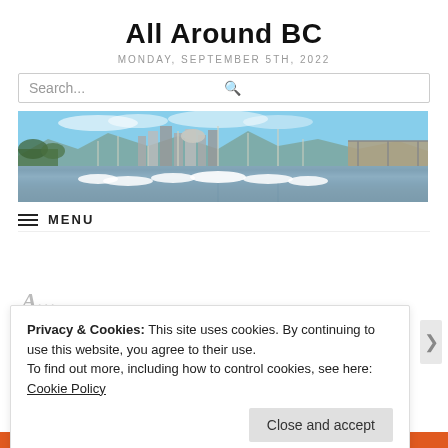All Around BC
MONDAY, SEPTEMBER 5TH, 2022
Search...
[Figure (photo): Panoramic photo of a marina with sailboats and yachts, city skyline with high-rise buildings, mountains in the background, and a bridge on the right side under a blue sky.]
MENU
Privacy & Cookies: This site uses cookies. By continuing to use this website, you agree to their use.
To find out more, including how to control cookies, see here:
Cookie Policy
Close and accept